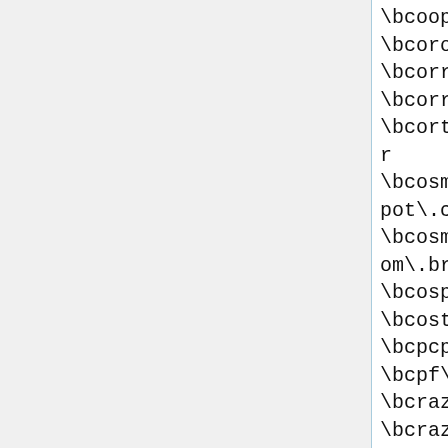\bcooppr\.med\.br
\bcoroascaseiras\.net
\bcorreiocarioca\.com\.br
\bcorreionatalino\.com\.br
\bcortesepenteados\.com\.br
\bcosmeticosharimar\.blogspot\.com/
\bcosmetologiaeestetica\.com\.br
\bcosplaybr\.com\.br
\bcostaverdenoticias\.com
\bcpcpbr\.tk
\bcpf\.adv\.br
\bcrazyshake\.net
\bcrazyvideo\.blog\.terra\.com\.br
\bcrazyvideo\.no\.comunidades\.net
\bcreatuforo\.com
\bcredito-info\.com
\bcriacionismoevidencias\.blogspot\.com
\bcriandocalopsitas\.webs\.com